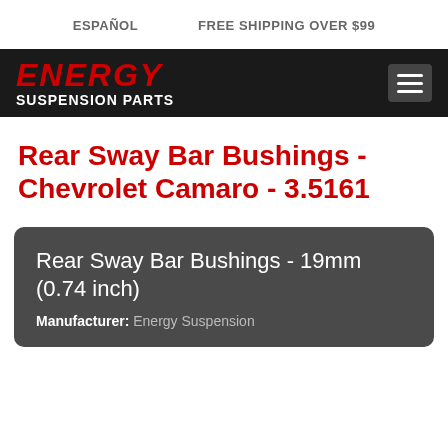ESPAÑOL   FREE SHIPPING OVER $99
[Figure (logo): Energy Suspension Parts logo - red italic ENERGY text above white bold SUSPENSION PARTS on black background, with hamburger menu button on right]
Rear Sway Bar Bushings - Chevrolet Camaro - 3.5161
Rear Sway Bar Bushings - 19mm (0.74 inch)
Manufacturer: Energy Suspension